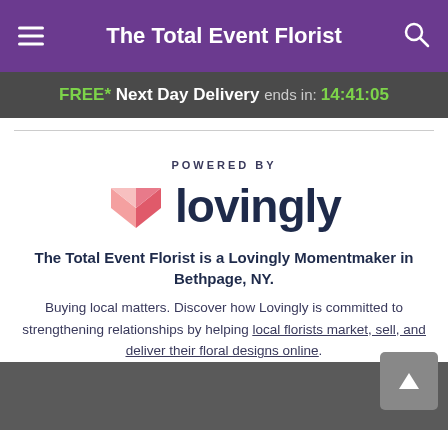The Total Event Florist
FREE* Next Day Delivery ends in: 14:41:05
[Figure (logo): POWERED BY lovingly logo with pink/red origami heart icon]
The Total Event Florist is a Lovingly Momentmaker in Bethpage, NY.
Buying local matters. Discover how Lovingly is committed to strengthening relationships by helping local florists market, sell, and deliver their floral designs online.